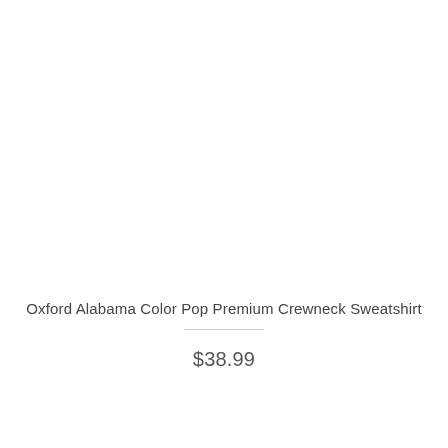[Figure (photo): Product image area — blank/white background where sweatshirt photo would appear]
Oxford Alabama Color Pop Premium Crewneck Sweatshirt
$38.99